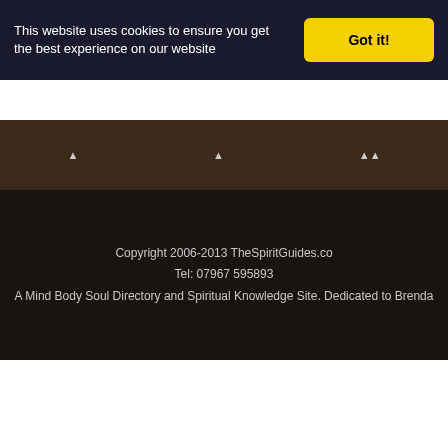This website uses cookies to ensure you get the best experience on our website
Got it!
Copyright 2006-2013 TheSpiritGuides.co
Tel: 07967 595893
A Mind Body Soul Directory and Spiritual Knowledge Site. Dedicated to Brenda